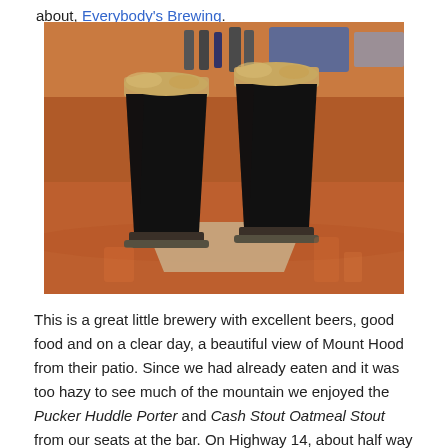about, Everybody's Brewing.
[Figure (photo): Two tall dark stout/porter beers in pint glasses sitting on paper napkins on a wooden bar counter, with bar shelves visible in the background.]
This is a great little brewery with excellent beers, good food and on a clear day, a beautiful view of Mount Hood from their patio. Since we had already eaten and it was too hazy to see much of the mountain we enjoyed the Pucker Huddle Porter and Cash Stout Oatmeal Stout from our seats at the bar. On Highway 14, about half way back to Vancouver, which is across the river from Portland, in